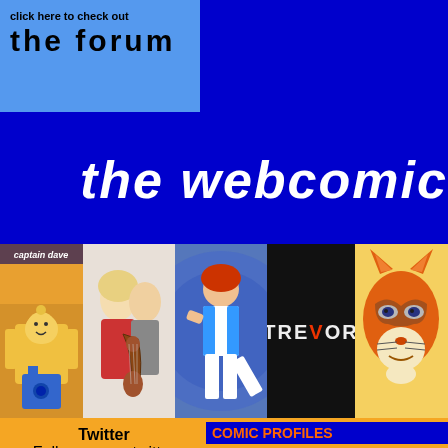click here to check out the forum
the webcomic lis
[Figure (screenshot): Row of webcomic banner images: Captain Dave (lego robot), romance illustration, action comic, TREVOR text on black, fox mask illustration, cartoon character]
Twitter
Follow me on twitter
@webmonkeyash
COMIC PROFILES
In order to view this page you need to be logged into the system. Please login using the box on the right-hand side of the page.

If you are not registered please click here to register